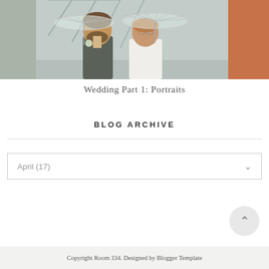[Figure (photo): Wedding photo of a couple holding clear umbrellas outdoors, smiling, in an urban setting with colorful buildings in the background. The groom has a beard and wears a grey suit; the bride wears white with glasses.]
Wedding Part 1: Portraits
BLOG ARCHIVE
April (17)
Copyright Room 334. Designed by Blogger Template